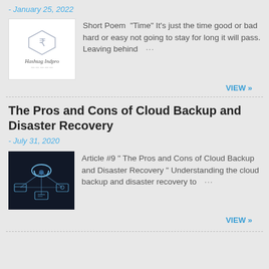- January 25, 2022
[Figure (logo): Hashtag Indpro logo with hexagon icon and script text]
Short Poem "Time" It's just the time good or bad hard or easy not going to stay for long it will pass. Leaving behind …
VIEW »
The Pros and Cons of Cloud Backup and Disaster Recovery
- July 31, 2020
[Figure (photo): Dark background photo with cloud icon connected by network lines, with icons for messaging and monitoring]
Article #9 " The Pros and Cons of Cloud Backup and Disaster Recovery " Understanding the cloud backup and disaster recovery to …
VIEW »